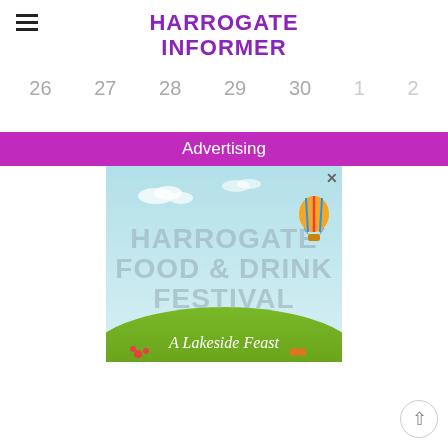HARROGATE INFORMER
26   27   28   29   30   1   2
Advertising
[Figure (illustration): Advertisement for Harrogate Food & Drink Festival showing a hot air balloon, clouds, green hills, and text 'A Lakeside Feast']